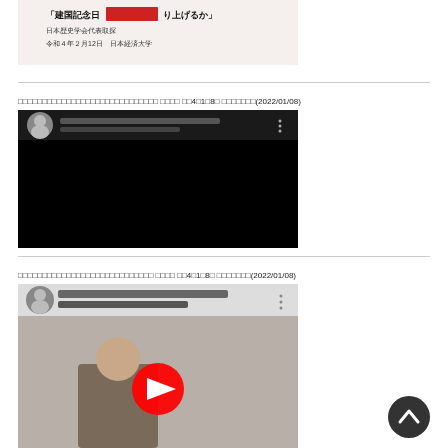[Figure (photo): Partial slide image showing Japanese text about Kenkoku Kinen Day event at Nihon Keizai University, February 12, Reiwa 4]
□□□□□□□□□□□□□□□□□□□□□□□□□□□□□ □□□□ □□4□1□8□ □□□□□□□(2022/01/08)
[Figure (screenshot): YouTube video thumbnail with black background, showing channel avatar and video title text placeholder, three-dot menu icon]
□□□□□□□□□□□□□□□□□□□□□□□□□□□□ □□□□ □□4□1□8□ □□□□□□□(2022/01/08)
[Figure (screenshot): YouTube video thumbnail with brownish/grey background showing a person and large red YouTube play button in center, channel avatar top left]
[Figure (illustration): Dark circular back-to-top button with white chevron/arrow pointing upward]